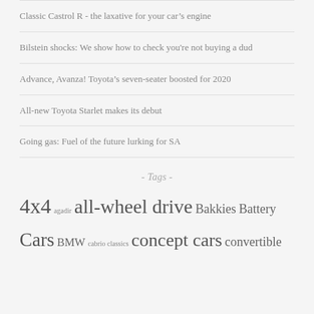Classic Castrol R - the laxative for your car's engine
Bilstein shocks: We show how to check you're not buying a dud
Advance, Avanza! Toyota's seven-seater boosted for 2020
All-new Toyota Starlet makes its debut
Going gas: Fuel of the future lurking for SA
- Tags -
4x4 agadir all-wheel drive Bakkies Battery Cars BMW cabrio classics concept cars convertible